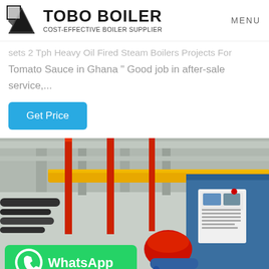TOBO BOILER | COST-EFFECTIVE BOILER SUPPLIER | MENU
sets 2 Tph Heavy Oil Fired Steam Boilers Projects For Tomato Sauce in Ghana " Good job in after-sale service,...
Get Price
[Figure (photo): Industrial boiler room interior with yellow and red pipes, blue boiler unit with control panel and red burner component, WhatsApp contact button overlay]